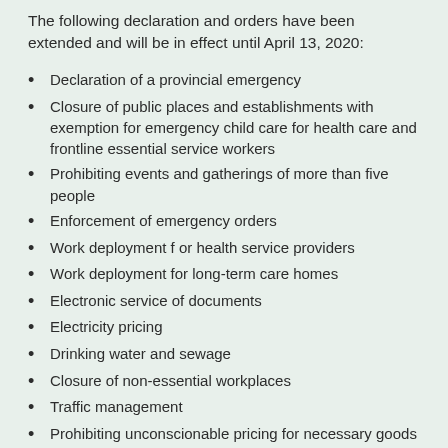The following declaration and orders have been extended and will be in effect until April 13, 2020:
Declaration of a provincial emergency
Closure of public places and establishments with exemption for emergency child care for health care and frontline essential service workers
Prohibiting events and gatherings of more than five people
Enforcement of emergency orders
Work deployment f or health service providers
Work deployment for long-term care homes
Electronic service of documents
Electricity pricing
Drinking water and sewage
Closure of non-essential workplaces
Traffic management
Prohibiting unconscionable pricing for necessary goods